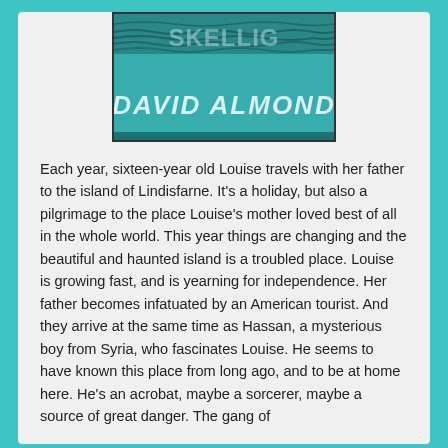[Figure (illustration): Book cover portion showing teal/turquoise background with dark wavy horizontal lines and large text reading 'DAVID ALMOND' in a stylized white/light font]
Each year, sixteen-year old Louise travels with her father to the island of Lindisfarne. It's a holiday, but also a pilgrimage to the place Louise's mother loved best of all in the whole world. This year things are changing and the beautiful and haunted island is a troubled place. Louise is growing fast, and is yearning for independence. Her father becomes infatuated by an American tourist. And they arrive at the same time as Hassan, a mysterious boy from Syria, who fascinates Louise. He seems to have known this place from long ago, and to be at home here. He's an acrobat, maybe a sorcerer, maybe a source of great danger. The gang of